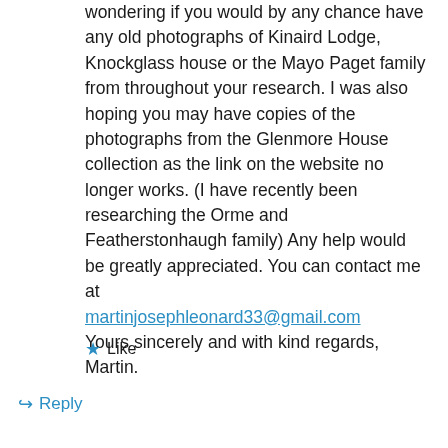wondering if you would by any chance have any old photographs of Kinaird Lodge, Knockglass house or the Mayo Paget family from throughout your research. I was also hoping you may have copies of the photographs from the Glenmore House collection as the link on the website no longer works. (I have recently been researching the Orme and Featherstonhaugh family) Any help would be greatly appreciated. You can contact me at martinjosephleonard33@gmail.com Yours sincerely and with kind regards, Martin.
Like
Reply